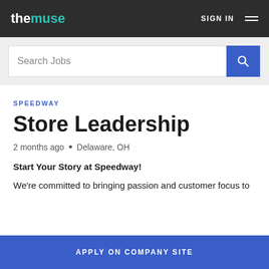themuse | SIGN IN
Search Jobs
SPEEDWAY
Store Leadership
2 months ago • Delaware, OH
Start Your Story at Speedway!
We're committed to bringing passion and customer focus to
APPLY ON COMPANY SITE